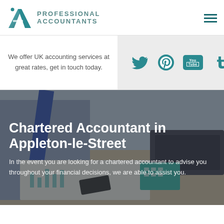[Figure (logo): Professional Accountants logo with teal A symbol and location pin, teal text reading PROFESSIONAL ACCOUNTANTS]
[Figure (other): Hamburger menu icon (three teal horizontal lines)]
We offer UK accounting services at great rates, get in touch today.
[Figure (other): Social media icons: Twitter bird, Pinterest P, YouTube box with You/Tube text, Tumblr t — all in teal on grey background]
Chartered Accountant in Appleton-le-Street
In the event you are looking for a chartered accountant to advise you throughout your financial decisions, we are able to assist you.